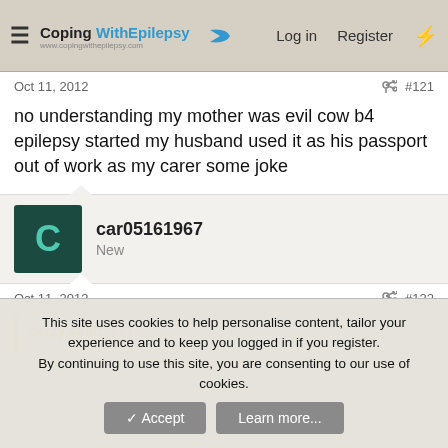CopingWithEpilepsy — Log in  Register
Oct 11, 2012  #121
no understanding my mother was evil cow b4 epilepsy started my husband used it as his passport out of work as my carer some joke
car05161967
New
Oct 11, 2012  #122
cazzy said:
This site uses cookies to help personalise content, tailor your experience and to keep you logged in if you register.
By continuing to use this site, you are consenting to our use of cookies.